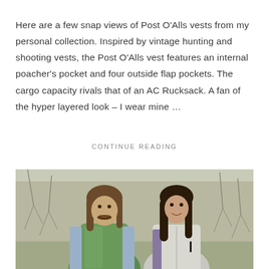Here are a few snap views of Post O'Alls vests from my personal collection. Inspired by vintage hunting and shooting vests, the Post O'Alls vest features an internal poacher's pocket and four outside flap pockets. The cargo capacity rivals that of an AC Rucksack. A fan of the hyper layered look – I wear mine ...
CONTINUE READING
[Figure (photo): A man with long hair and a mustache wearing a green puffer vest over a light blue shirt, standing next to a woman with long dark hair wearing a light jacket, outdoors with bare trees in the background.]